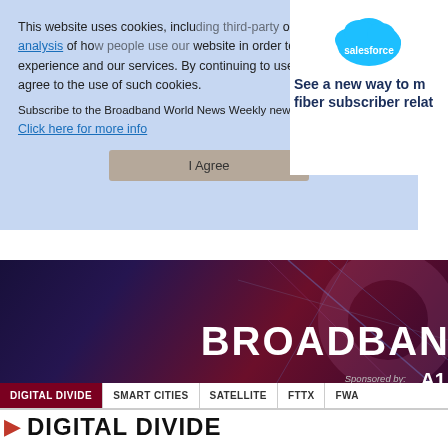[Figure (screenshot): Salesforce advertisement overlay showing cloud logo and text 'See a new way to manage fiber subscriber relationships']
This website uses cookies, including third-party ones, to allow for analysis of how people use our website in order to improve your experience and our services. By continuing to use our website, you agree to the use of such cookies.
Subscribe to the Broadband World News Weekly newsletter
Click here for more info
I Agree
[Figure (screenshot): Broadband World News hero banner with dark purple/red gradient background showing 'BROADBAN' text and 'Sponsored by: A1' text with geometric light effects]
DIGITAL DIVIDE  SMART CITIES  SATELLITE  FTTX  FWA
DIGITAL DIVIDE